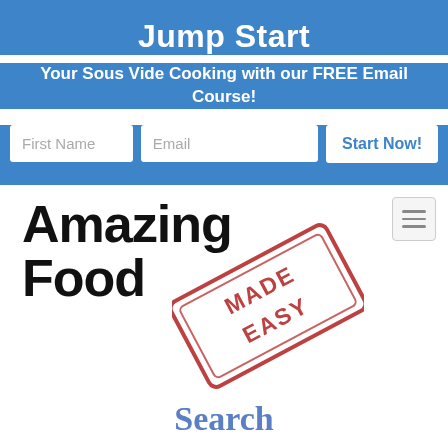Jump Start
Your Sous Vide Cooking with our FREE Email Course!
[Figure (screenshot): Email signup form with First Name input, Email input, and Start Now! button on blue background]
[Figure (logo): Amazing Food Made Easy logo with stamp overlay]
Search